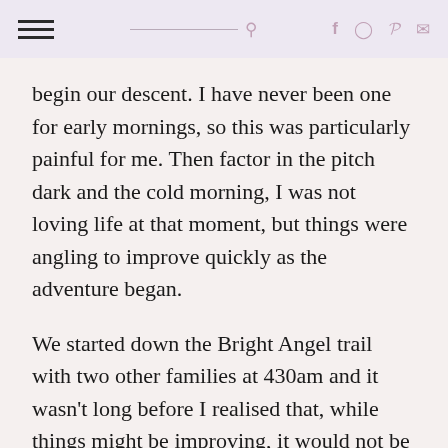navigation header with menu, search, and social icons
begin our descent. I have never been one for early mornings, so this was particularly painful for me. Then factor in the pitch dark and the cold morning, I was not loving life at that moment, but things were angling to improve quickly as the adventure began.
We started down the Bright Angel trail with two other families at 430am and it wasn't long before I realised that, while things might be improving, it would not be too quickly at all. The trail was